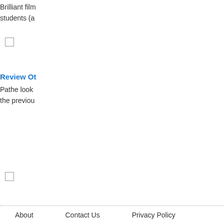Brilliant film... students (a...
☐
Review Ot...
Pathe look... the previou...
☐
Add
About    Contact Us    Privacy Policy